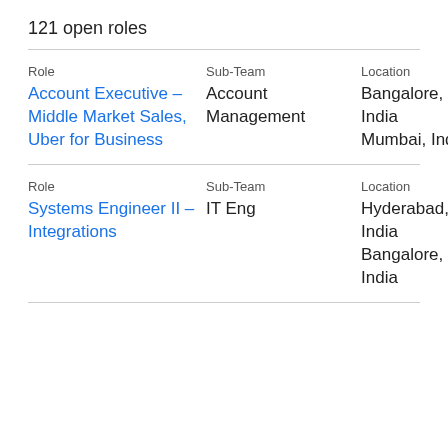121 open roles
| Role | Sub-Team | Location |
| --- | --- | --- |
| Account Executive - Middle Market Sales, Uber for Business | Account Management | Bangalore, India
Mumbai, India |
| Systems Engineer II - Integrations | IT Eng | Hyderabad, India
Bangalore, India |